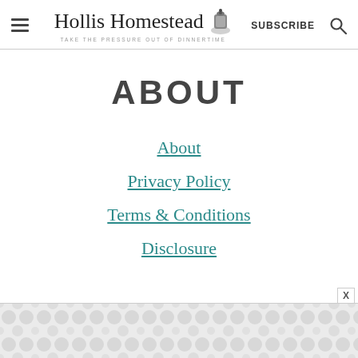Hollis Homestead — TAKE THE PRESSURE OUT OF DINNERTIME | SUBSCRIBE
ABOUT
About
Privacy Policy
Terms & Conditions
Disclosure
[Figure (other): Advertisement banner with gray bubble/dot pattern at the bottom of the page with a close (X) button]